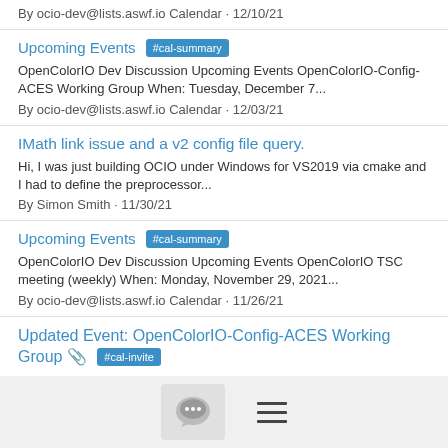By ocio-dev@lists.aswf.io Calendar · 12/10/21
Upcoming Events #cal-summary
OpenColorIO Dev Discussion Upcoming Events OpenColorIO-Config-ACES Working Group When: Tuesday, December 7...
By ocio-dev@lists.aswf.io Calendar · 12/03/21
IMath link issue and a v2 config file query.
Hi, I was just building OCIO under Windows for VS2019 via cmake and I had to define the preprocessor...
By Simon Smith · 11/30/21
Upcoming Events #cal-summary
OpenColorIO Dev Discussion Upcoming Events OpenColorIO TSC meeting (weekly) When: Monday, November 29, 2021...
By ocio-dev@lists.aswf.io Calendar · 11/26/21
Updated Event: OpenColorIO-Config-ACES Working Group 📎 #cal-invite
OpenColorIO-Config-ACES Working Group When: Tue...